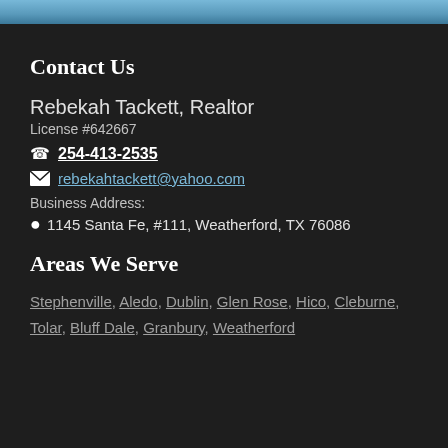[Figure (photo): Sky photo header banner with blue gradient]
Contact Us
Rebekah Tackett, Realtor
License #642667
254-413-2535
rebekahtackett@yahoo.com
Business Address:
1145 Santa Fe, #111, Weatherford, TX 76086
Areas We Serve
Stephenville, Aledo, Dublin, Glen Rose, Hico, Cleburne, Tolar, Bluff Dale, Granbury, Weatherford